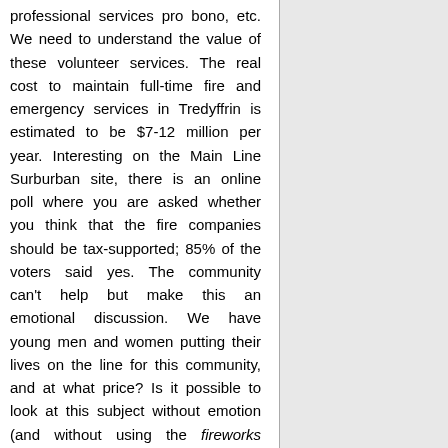professional services pro bono, etc. We need to understand the value of these volunteer services. The real cost to maintain full-time fire and emergency services in Tredyffrin is estimated to be $7-12 million per year. Interesting on the Main Line Surburban site, there is an online poll where you are asked whether you think that the fire companies should be tax-supported; 85% of the voters said yes. The community can't help but make this an emotional discussion. We have young men and women putting their lives on the line for this community, and at what price? Is it possible to look at this subject without emotion (and without using the fireworks remaining in the budget argument